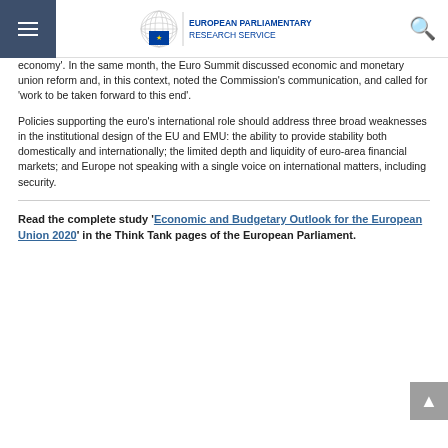European Parliamentary Research Service
economy'. In the same month, the Euro Summit discussed economic and monetary union reform and, in this context, noted the Commission's communication, and called for 'work to be taken forward to this end'.
Policies supporting the euro's international role should address three broad weaknesses in the institutional design of the EU and EMU: the ability to provide stability both domestically and internationally; the limited depth and liquidity of euro-area financial markets; and Europe not speaking with a single voice on international matters, including security.
Read the complete study 'Economic and Budgetary Outlook for the European Union 2020' in the Think Tank pages of the European Parliament.